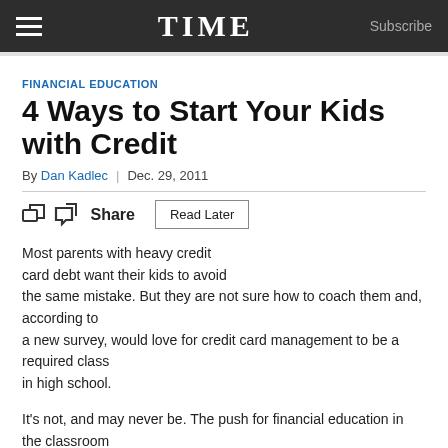TIME | Subscribe
FINANCIAL EDUCATION
4 Ways to Start Your Kids with Credit
By Dan Kadlec | Dec. 29, 2011
Share  Read Later
Most parents with heavy credit card debt want their kids to avoid the same mistake. But they are not sure how to coach them and, according to a new survey, would love for credit card management to be a required class in high school.
It's not, and may never be. The push for financial education in the classroom has stalled, as ideas of incorporating it into the classroom have been slow to